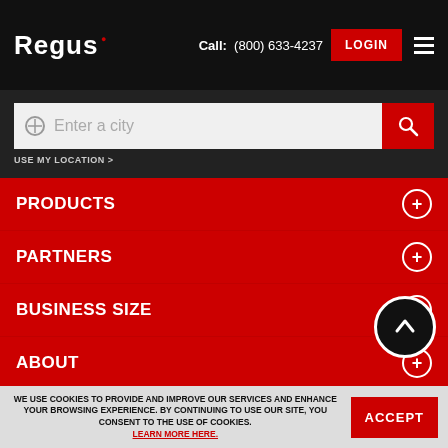Regus | Call: (800) 633-4237 | LOGIN
Enter a city | USE MY LOCATION >
PRODUCTS
PARTNERS
BUSINESS SIZE
ABOUT
WE USE COOKIES TO PROVIDE AND IMPROVE OUR SERVICES AND ENHANCE YOUR BROWSING EXPERIENCE. BY CONTINUING TO USE OUR SITE, YOU CONSENT TO THE USE OF COOKIES. LEARN MORE HERE.